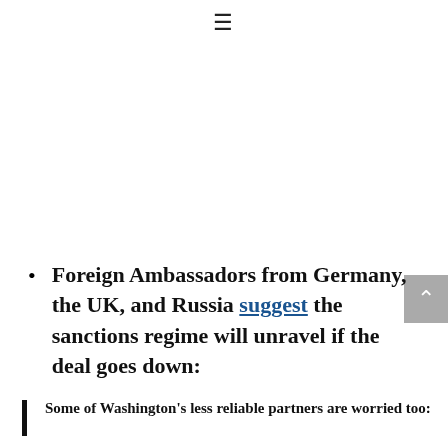≡
Foreign Ambassadors from Germany, the UK, and Russia suggest the sanctions regime will unravel if the deal goes down:
Some of Washington's less reliable partners are worried too: